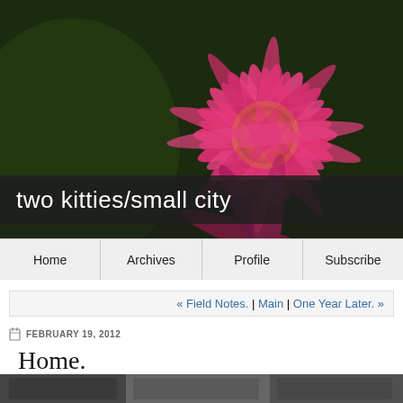[Figure (photo): Close-up macro photograph of a bright pink zinnia flower with a yellow center, against a dark green blurred background]
two kitties/small city
Home | Archives | Profile | Subscribe
« Field Notes. | Main | One Year Later. »
FEBRUARY 19, 2012
Home.
[Figure (photo): Partial bottom strip of a photograph visible at the bottom of the page]